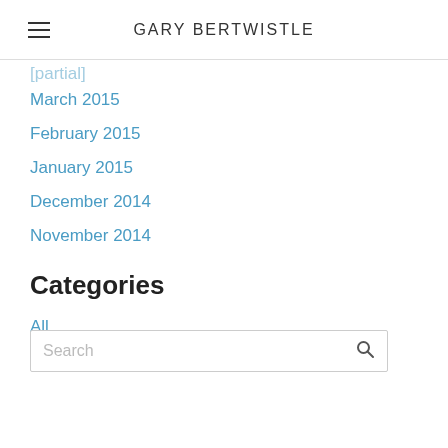GARY BERTWISTLE
March 2015
February 2015
January 2015
December 2014
November 2014
Categories
All
RSS Feed